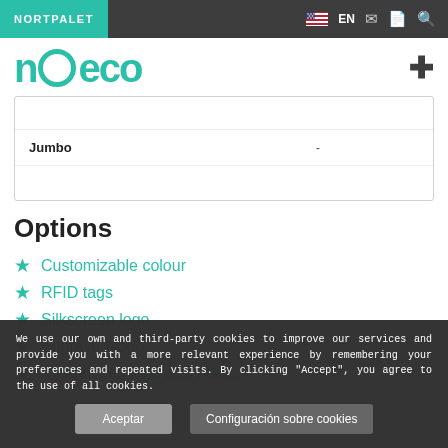NORTPALET | EN
[Figure (logo): noeco brand logo in teal/green color]
| Jumbo | - |
Options
Customizable colour
RFID tags
Silkscreen logo
Engraved logo
We use our own and third-party cookies to improve our services and provide you with a more relevant experience by remembering your preferences and repeated visits. By clicking "Accept", you agree to the use of all cookies.
Aceptar | Configuración sobre cookies